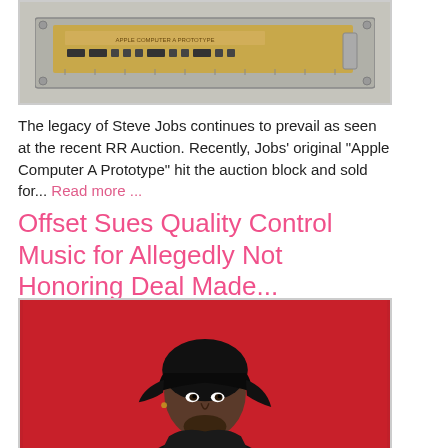[Figure (photo): Apple Computer A Prototype circuit board in a metal frame, top-down view]
The legacy of Steve Jobs continues to prevail as seen at the recent RR Auction. Recently, Jobs' original "Apple Computer A Prototype" hit the auction block and sold for... Read more ...
Offset Sues Quality Control Music for Allegedly Not Honoring Deal Made...
[Figure (photo): Offset (rapper) wearing a black durag and black outfit against a red background, looking to the side]